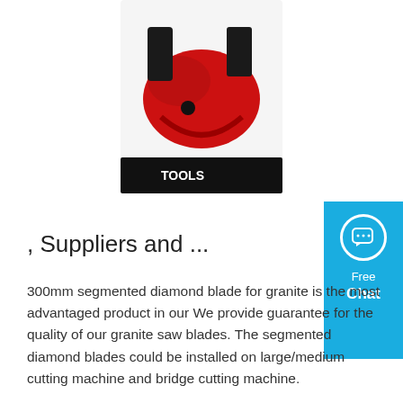[Figure (photo): Product image of a red pipe cutter tool with black blades, displayed on a product card with text 'TOOLS' visible at the bottom of the packaging.]
, Suppliers and ...
300mm segmented diamond blade for granite is the most advantaged product in our We provide guarantee for the quality of our granite saw blades. The segmented diamond blades could be installed on large/medium cutting machine and bridge cutting machine.
[Figure (other): Blue chat widget showing a speech bubble icon with 'Free Chat' text on the right side of the page.]